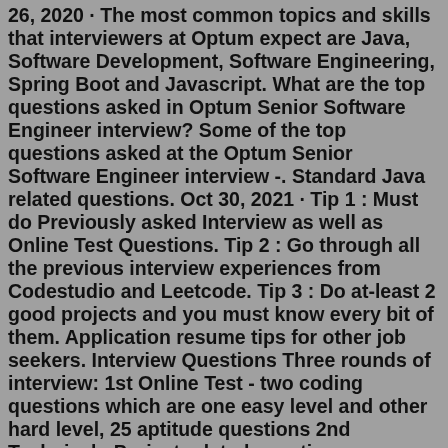26, 2020 · The most common topics and skills that interviewers at Optum expect are Java, Software Development, Software Engineering, Spring Boot and Javascript. What are the top questions asked in Optum Senior Software Engineer interview? Some of the top questions asked at the Optum Senior Software Engineer interview -. Standard Java related questions. Oct 30, 2021 · Tip 1 : Must do Previously asked Interview as well as Online Test Questions. Tip 2 : Go through all the previous interview experiences from Codestudio and Leetcode. Tip 3 : Do at-least 2 good projects and you must know every bit of them. Application resume tips for other job seekers. Interview Questions Three rounds of interview: 1st Online Test - two coding questions which are one easy level and other hard level, 25 aptitude questions 2nd Technical - Project related questions, technical aspects of your projects, simple coding, database, puzzles, aptitude 3rd Technical + HR - Project related questions, team aspects, behavioral questions, expectations,Jun 26, 2022 · I interviewed at Optum.